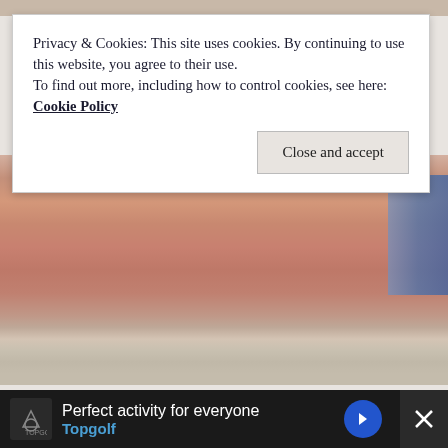[Figure (photo): Close-up photo of a man's face (chin/lower face area) with a blue sign visible in background]
Privacy & Cookies: This site uses cookies. By continuing to use this website, you agree to their use.
To find out more, including how to control cookies, see here: Cookie Policy
Close and accept
Emeril Lagasse Basically Vanished And It's Really No Secret Why
[Figure (photo): Close-up photo of raw meat slices]
Perfect activity for everyone Topgolf